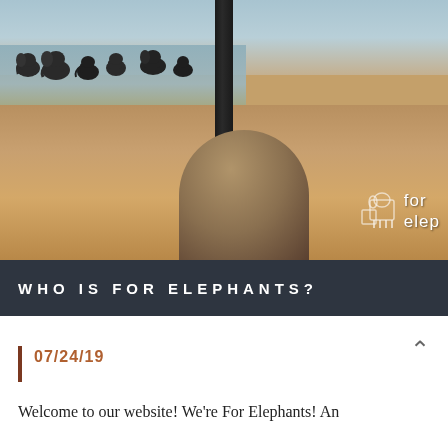[Figure (photo): Safari photo taken from inside a vehicle showing a herd of elephants near a watering hole, dry African savanna landscape, with a vehicle roll bar visible in the foreground and a 'For Elephants' logo in the bottom right corner]
WHO IS FOR ELEPHANTS?
07/24/19
Welcome to our website! We're For Elephants! An